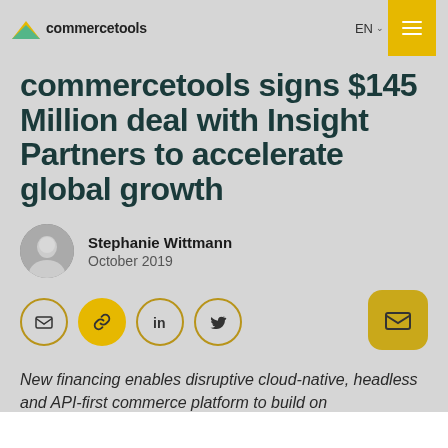commercetools  EN  [menu]
commercetools signs $145 Million deal with Insight Partners to accelerate global growth
Stephanie Wittmann
October 2019
[Figure (infographic): Social sharing icons: email (outline circle), link (filled yellow circle), LinkedIn (outline circle), Twitter (outline circle), and a large rounded-square email icon on the right]
New financing enables disruptive cloud-native, headless and API-first commerce platform to build on